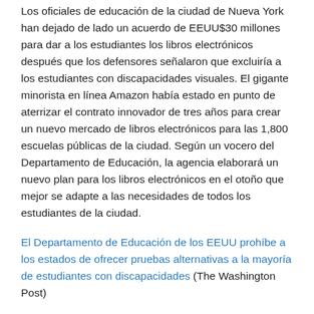Los oficiales de educación de la ciudad de Nueva York han dejado de lado un acuerdo de EEUU$30 millones para dar a los estudiantes los libros electrónicos después que los defensores señalaron que excluiría a los estudiantes con discapacidades visuales. El gigante minorista en línea Amazon había estado en punto de aterrizar el contrato innovador de tres años para crear un nuevo mercado de libros electrónicos para las 1,800 escuelas públicas de la ciudad. Según un vocero del Departamento de Educación, la agencia elaborará un nuevo plan para los libros electrónicos en el otoño que mejor se adapte a las necesidades de todos los estudiantes de la ciudad.
El Departamento de Educación de los EEUU prohíbe a los estados de ofrecer pruebas alternativas a la mayoría de estudiantes con discapacidades (The Washington Post)